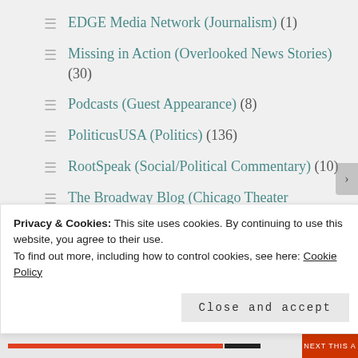EDGE Media Network (Journalism) (1)
Missing in Action (Overlooked News Stories) (30)
Podcasts (Guest Appearance) (8)
PoliticusUSA (Politics) (136)
RootSpeak (Social/Political Commentary) (10)
The Broadway Blog (Chicago Theater Reviews) (57)
The State of the Union (Politics) (7)
Uncategorized (4)
Privacy & Cookies: This site uses cookies. By continuing to use this website, you agree to their use.
To find out more, including how to control cookies, see here: Cookie Policy
Close and accept